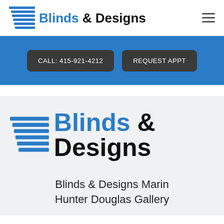[Figure (logo): Blinds & Designs logo - small version in header with horizontal blinds icon and brand name]
[Figure (logo): Hamburger menu icon (three horizontal lines)]
CALL: 415-921-4212
REQUEST APPT
[Figure (logo): Blinds & Designs logo - large version in gray section with horizontal blinds icon and brand name]
Blinds & Designs Marin
Hunter Douglas Gallery